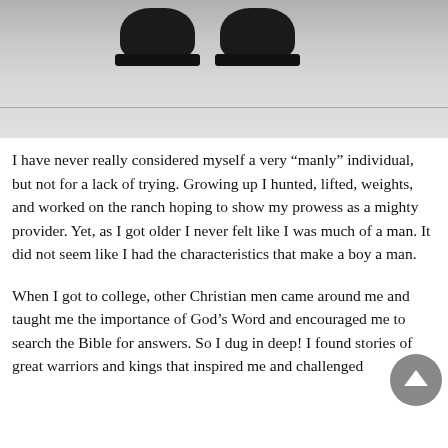[Figure (photo): Black and white photograph showing a pair of dark boots/shoes standing on a light surface, viewed from ground level.]
I have never really considered myself a very “manly” individual, but not for a lack of trying. Growing up I hunted, lifted, weights, and worked on the ranch hoping to show my prowess as a mighty provider. Yet, as I got older I never felt like I was much of a man. It did not seem like I had the characteristics that make a boy a man.
When I got to college, other Christian men came around me and taught me the importance of God’s Word and encouraged me to search the Bible for answers. So I dug in deep! I found stories of great warriors and kings that inspired me and challenged